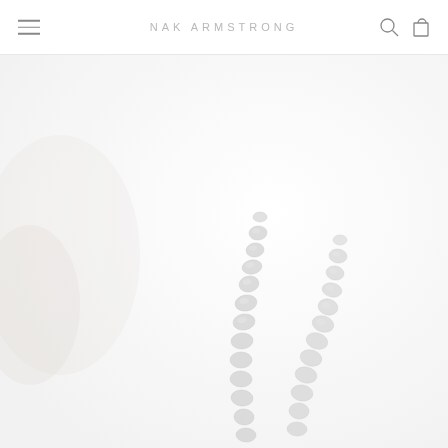NAK ARMSTRONG
[Figure (photo): Close-up photograph of a model wearing large sculptural silver earrings with stacked organic petal/shell-shaped links forming two elongated strands in an M or V shape. The background is white and the image is high-key with soft lighting. The model's face is partially visible on the left side.]